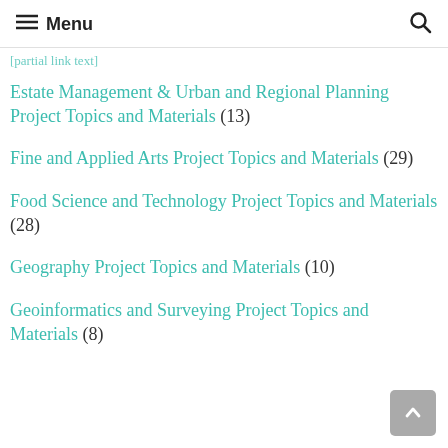≡ Menu
[partial link text cut off at top]
Estate Management & Urban and Regional Planning Project Topics and Materials (13)
Fine and Applied Arts Project Topics and Materials (29)
Food Science and Technology Project Topics and Materials (28)
Geography Project Topics and Materials (10)
Geoinformatics and Surveying Project Topics and Materials (8)